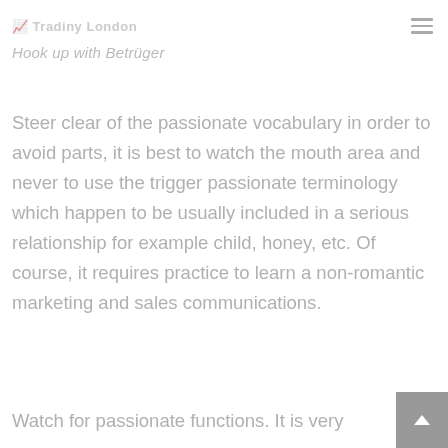Tradiny London — [menu icon]
Hook up with Betrüger
Steer clear of the passionate vocabulary in order to avoid parts, it is best to watch the mouth area and never to use the trigger passionate terminology which happen to be usually included in a serious relationship for example child, honey, etc. Of course, it requires practice to learn a non-romantic marketing and sales communications.
Watch for passionate functions. It is very